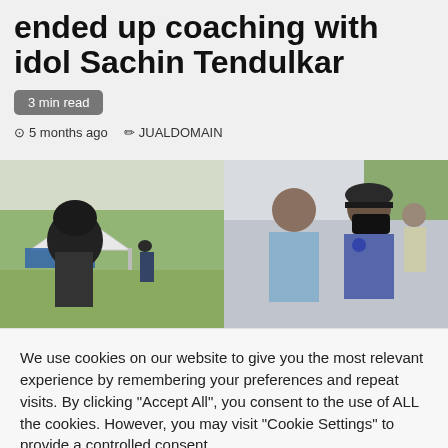ended up coaching with idol Sachin Tendulkar
3 min read
5 months ago  JUALDOMAIN
[Figure (photo): Two-panel photo: left panel shows a cricket ground with a person in helmet viewed from behind and a player in the field; right panel shows two men outdoors, one wearing a mask and dark baseball cap, another in a light blue shirt.]
We use cookies on our website to give you the most relevant experience by remembering your preferences and repeat visits. By clicking "Accept All", you consent to the use of ALL the cookies. However, you may visit "Cookie Settings" to provide a controlled consent.